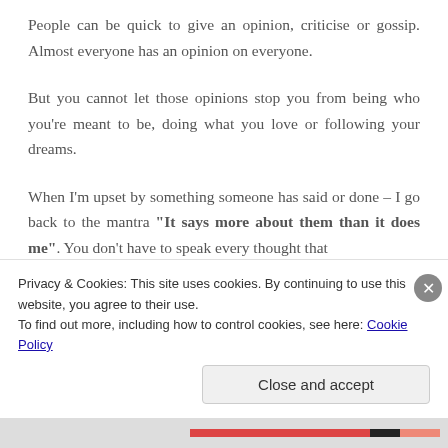People can be quick to give an opinion, criticise or gossip. Almost everyone has an opinion on everyone.
But you cannot let those opinions stop you from being who you're meant to be, doing what you love or following your dreams.
When I'm upset by something someone has said or done – I go back to the mantra "It says more about them than it does me". You don't have to speak every thought that
Privacy & Cookies: This site uses cookies. By continuing to use this website, you agree to their use.
To find out more, including how to control cookies, see here: Cookie Policy